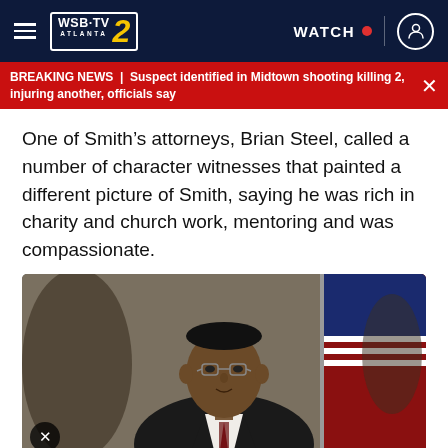WSB-TV 2 Atlanta | WATCH
BREAKING NEWS | Suspect identified in Midtown shooting killing 2, injuring another, officials say
One of Smith’s attorneys, Brian Steel, called a number of character witnesses that painted a different picture of Smith, saying he was rich in charity and church work, mentoring and was compassionate.
[Figure (photo): Video thumbnail showing a man in a suit with glasses speaking in front of an American flag and Georgia state flag, with a close/X button in the bottom left corner.]